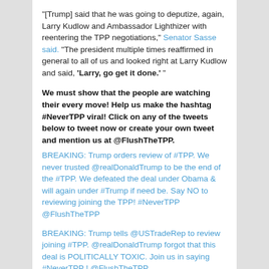“[Trump] said that he was going to deputize, again, Larry Kudlow and Ambassador Lighthizer with reentering the TPP negotiations,” Senator Sasse said. “The president multiple times reaffirmed in general to all of us and looked right at Larry Kudlow and said, ‘Larry, go get it done.’ ”
We must show that the people are watching their every move! Help us make the hashtag #NeverTPP viral! Click on any of the tweets below to tweet now or create your own tweet and mention us at @FlushTheTPP.
BREAKING: Trump orders review of #TPP. We never trusted @realDonaldTrump to be the end of the #TPP. We defeated the deal under Obama & will again under #Trump if need be. Say NO to reviewing joining the TPP! #NeverTPP @FlushTheTPP
BREAKING: Trump tells @USTradeRep to review joining #TPP. @realDonaldTrump forgot that this deal is POLITICALLY TOXIC. Join us in saying #NeverTPP ! @FlushTheTPP